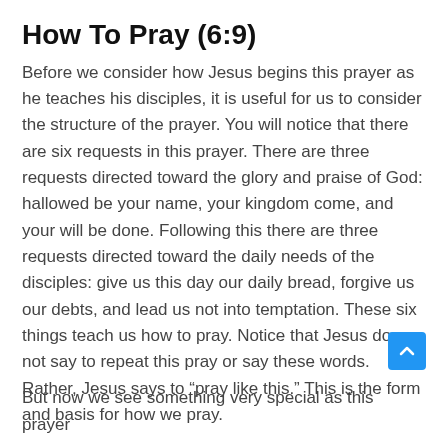How To Pray (6:9)
Before we consider how Jesus begins this prayer as he teaches his disciples, it is useful for us to consider the structure of the prayer. You will notice that there are six requests in this prayer. There are three requests directed toward the glory and praise of God: hallowed be your name, your kingdom come, and your will be done. Following this there are three requests directed toward the daily needs of the disciples: give us this day our daily bread, forgive us our debts, and lead us not into temptation. These six things teach us how to pray. Notice that Jesus does not say to repeat this pray or say these words. Rather, Jesus says to “pray like this.” This is the form and basis for how we pray.
But now we see something very special as this prayer